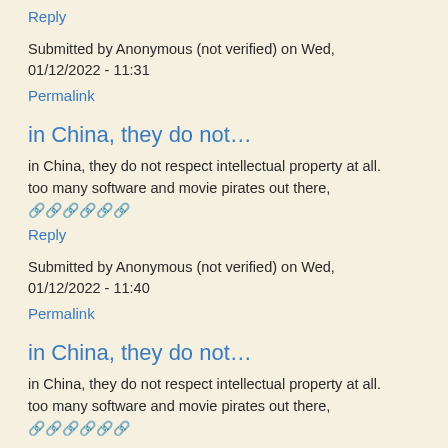Reply
Submitted by Anonymous (not verified) on Wed, 01/12/2022 - 11:31
Permalink
in China, they do not…
in China, they do not respect intellectual property at all. too many software and movie pirates out there, 🔗🔗🔗🔗🔗🔗
Reply
Submitted by Anonymous (not verified) on Wed, 01/12/2022 - 11:40
Permalink
in China, they do not…
in China, they do not respect intellectual property at all. too many software and movie pirates out there, 🔗🔗🔗🔗🔗🔗